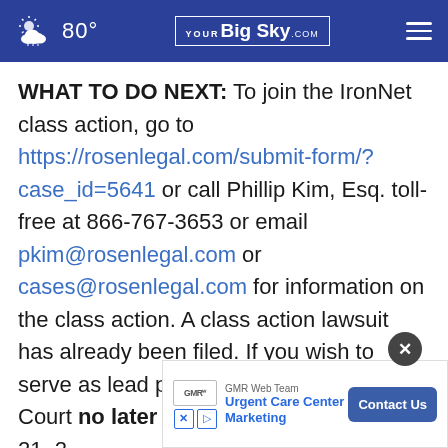80° YOUR Big Sky .COM [hamburger menu]
WHAT TO DO NEXT: To join the IronNet class action, go to https://rosenlegal.com/submit-form/?case_id=5641 or call Phillip Kim, Esq. toll-free at 866-767-3653 or email pkim@rosenlegal.com or cases@rosenlegal.com for information on the class action. A class action lawsuit has already been filed. If you wish to serve as lead plaintiff, you must move the Court no later than [J]une 21, 2[...] party [act]ing on behalf of other class mem[bers]